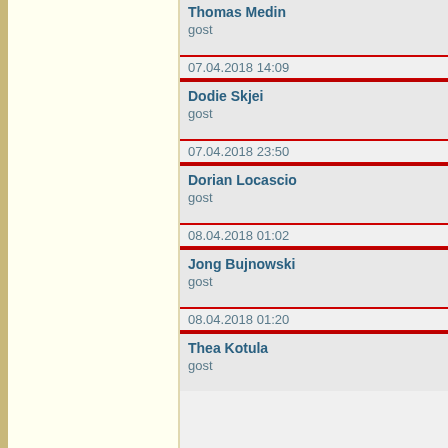Thomas Medin
gost
07.04.2018 14:09
Dodie Skjei
gost
07.04.2018 23:50
Dorian Locascio
gost
08.04.2018 01:02
Jong Bujnowski
gost
08.04.2018 01:20
Thea Kotula
gost